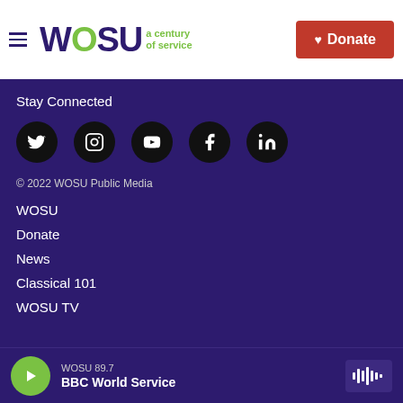WOSU a century of service | Donate
Stay Connected
[Figure (illustration): Five social media icons in black circles: Twitter, Instagram, YouTube, Facebook, LinkedIn]
© 2022 WOSU Public Media
WOSU
Donate
News
Classical 101
WOSU TV
WOSU 89.7 BBC World Service